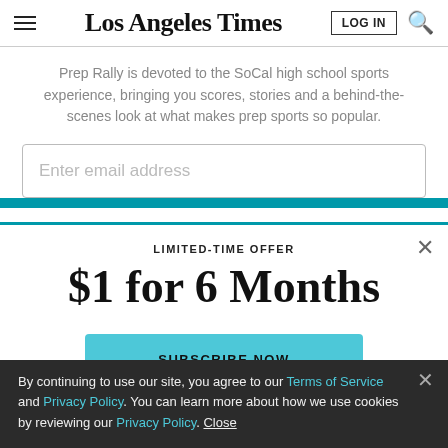Los Angeles Times — navigation bar with hamburger menu, LOG IN button, and search icon
Prep Rally is devoted to the SoCal high school sports experience, bringing you scores, stories and a behind-the-scenes look at what makes prep sports so popular.
[Figure (screenshot): Email address input field with placeholder text 'Enter email address' and a teal subscribe button below, partially visible]
LIMITED-TIME OFFER
$1 for 6 Months
SUBSCRIBE NOW
By continuing to use our site, you agree to our Terms of Service and Privacy Policy. You can learn more about how we use cookies by reviewing our Privacy Policy. Close